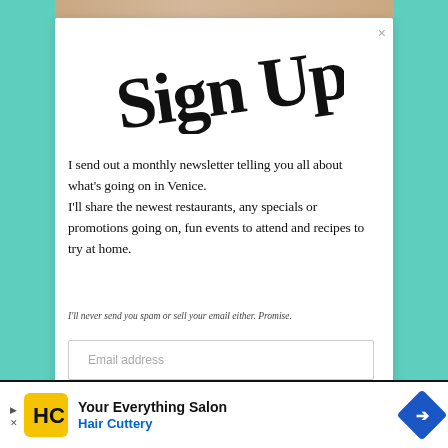[Figure (screenshot): A website popup/modal overlay on a teal/mint background. The modal is a white card with a handwritten-style 'Sign Up!' title, newsletter signup text, email input field, and a Hair Cuttery advertisement banner at the bottom.]
Sign Up!
I send out a monthly newsletter telling you all about what's going on in Venice. I'll share the newest restaurants, any specials or promotions going on, fun events to attend and recipes to try at home.
I'll never send you spam or sell your email either. Promise.
Email address
Your Everything Salon
Hair Cuttery